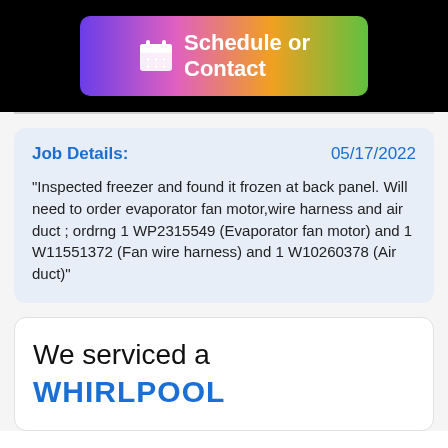[Figure (other): Schedule or Contact button with calendar icon, gradient background from purple to green]
Job Details:    05/17/2022
"Inspected freezer and found it frozen at back panel. Will need to order evaporator fan motor,wire harness and air duct ; ordrng 1 WP2315549 (Evaporator fan motor) and 1 W11551372 (Fan wire harness) and 1 W10260378 (Air duct)"
We serviced a
WHIRLPOOL